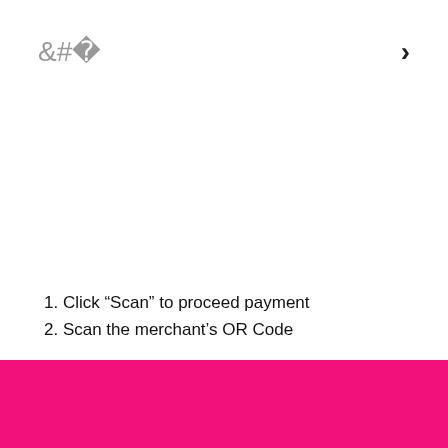<
>
1. Click “Scan” to proceed payment
2. Scan the merchant’s OR Code